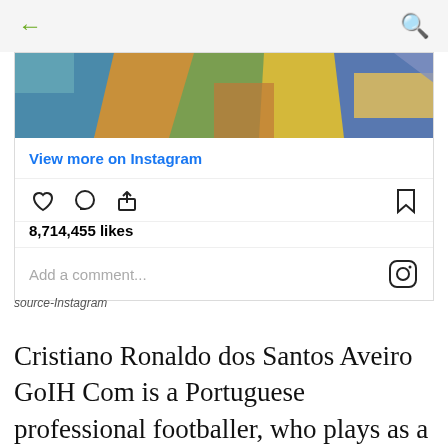← (back) Q (search)
[Figure (screenshot): Instagram embed card showing a partial image of colorful artwork/jersey at top, 'View more on Instagram' link, like/comment/share icons, 8,714,455 likes count, and a comment input field with Instagram logo]
source-Instagram
Cristiano Ronaldo dos Santos Aveiro GoIH Com is a Portuguese professional footballer, who plays as a forward for Serie A club